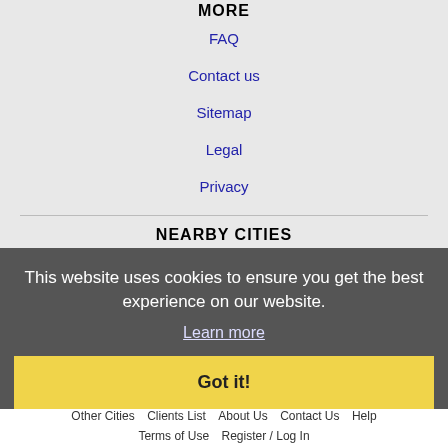MORE
FAQ
Contact us
Sitemap
Legal
Privacy
NEARBY CITIES
Fayetteville, AR Jobs
Rogers, AR Jobs
Springdale, AR Jobs
Springfield, MO Jobs
This website uses cookies to ensure you get the best experience on our website.
Learn more
Got it!
Home  Profile and Resume  Browse Jobs  Employers  Other Cities  Clients List  About Us  Contact Us  Help  Terms of Use  Register / Log In